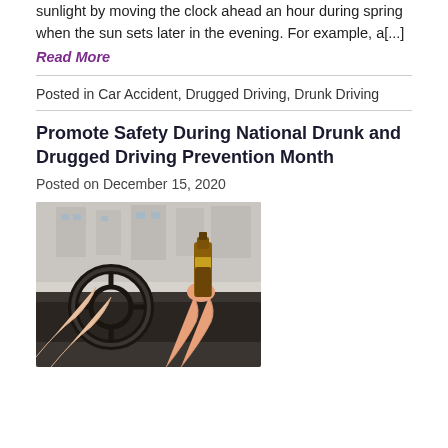sunlight by moving the clock ahead an hour during spring when the sun sets later in the evening. For example, a[...]
Read More
Posted in Car Accident, Drugged Driving, Drunk Driving
Promote Safety During National Drunk and Drugged Driving Prevention Month
Posted on December 15, 2020
[Figure (photo): Person holding a beer bottle while driving a car, steering wheel visible in foreground]